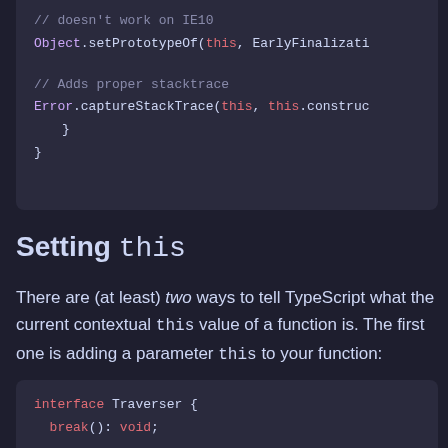[Figure (screenshot): Code block showing Object.setPrototypeOf and Error.captureStackTrace calls with closing braces]
Setting this
There are (at least) two ways to tell TypeScript what the current contextual this value of a function is. The first one is adding a parameter this to your function:
[Figure (screenshot): Code block showing interface Traverser { break(): void;]